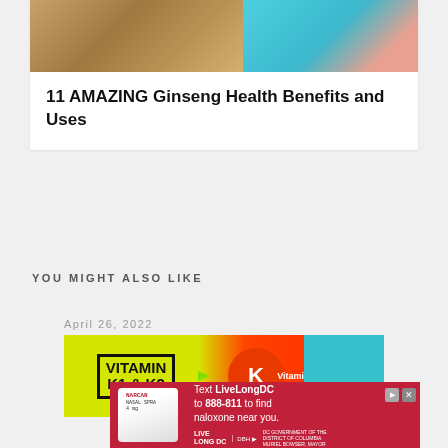[Figure (photo): Article card with ginseng root image on left and human body anatomy on right, with article title below]
11 AMAZING Ginseng Health Benefits and Uses
YOU MIGHT ALSO LIKE
April 26, 2022
[Figure (photo): Vitamin K1 & K2 article thumbnail with yellow background text and red circle with K letter]
[Figure (photo): Advertisement banner: Text LiveLongDC to 888-811 to find naloxone near you. DC Government Health ad with nasal spray image.]